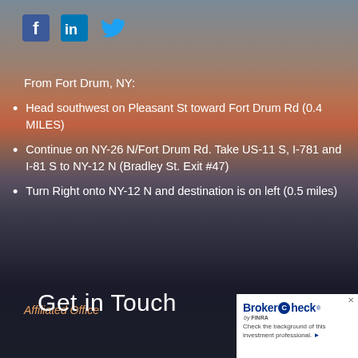[Figure (infographic): Social media icons: Facebook (blue), LinkedIn (blue), Twitter (blue)]
From Fort Drum, NY:
Head southwest on Pleasant St toward Fort Drum Rd (0.4 MILES)
Continue on NY-26 N/Fort Drum Rd.  Take US-11 S, I-781 and I-81 S to NY-12 N (Bradley St. Exit #47)
Turn Right onto NY-12 N and destination is on left (0.5 miles)
Affiliated Office
Get in Touch
[Figure (logo): BrokerCheck by FINRA logo with text: Check the background of this investment professional.]